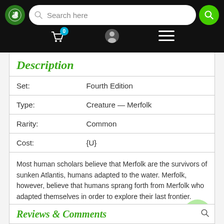Search here
Description
| Field | Value |
| --- | --- |
| Set: | Fourth Edition |
| Type: | Creature — Merfolk |
| Rarity: | Common |
| Cost: | {U} |
Most human scholars believe that Merfolk are the survivors of sunken Atlantis, humans adapted to the water. Merfolk, however, believe that humans sprang forth from Merfolk who adapted themselves in order to explore their last frontier.
Reviews & Comments